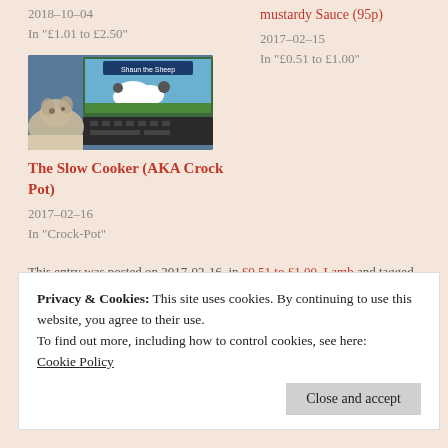2018-10-04
In "£1.01 to £2.50"
mustardy Sauce (95p)
2017-02-15
In "£0.51 to £1.00"
[Figure (photo): A guinea pig or similar small animal sitting in front of a laptop screen showing a Shaun the Sheep cartoon]
The Slow Cooker (AKA Crock Pot)
2017-02-16
In "Crock-Pot"
This entry was posted on 2017-02-16, in £0.51 to £1.00, Lamb and tagged
Privacy & Cookies: This site uses cookies. By continuing to use this website, you agree to their use.
To find out more, including how to control cookies, see here:
Cookie Policy
Close and accept